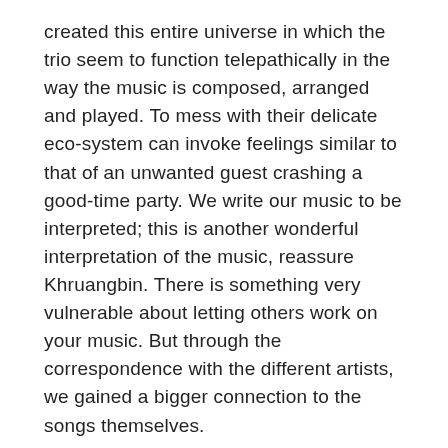created this entire universe in which the trio seem to function telepathically in the way the music is composed, arranged and played. To mess with their delicate eco-system can invoke feelings similar to that of an unwanted guest crashing a good-time party. We write our music to be interpreted; this is another wonderful interpretation of the music, reassure Khruangbin. There is something very vulnerable about letting others work on your music. But through the correspondence with the different artists, we gained a bigger connection to the songs themselves.
The choice of remixers for this album is neither arbitrary nor accidental. They're not names picked randomly out of a hat or chosen via a throw of the dice. All have some connection to the band, sometimes personal friendships, musical connections, or simply mutual musical appreciation. Harvey Sutherland and Ginger Roots have both toured with the band, Kadhja Bonet and Ron Trent had their own mutual fan club